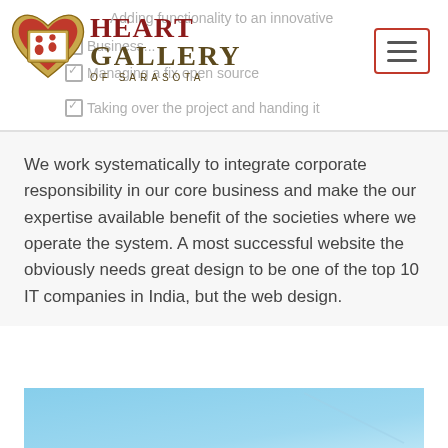[Figure (logo): Heart Gallery of Sarasota logo — red heart with figures inside, gold frame, with organization name in dark red and brown serif text]
Adding functionality to an innovative Business... Managing a fix open source Taking over the project and handing it
We work systematically to integrate corporate responsibility in our core business and make the our expertise available benefit of the societies where we operate the system. A most successful website the obviously needs great design to be one of the top 10 IT companies in India, but the web design.
[Figure (photo): Blue sky background image at bottom of page]